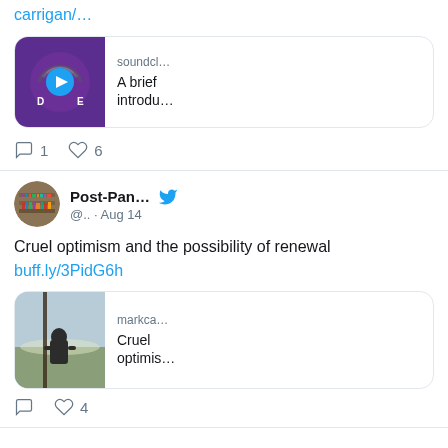carrigan/…
[Figure (screenshot): SoundCloud card preview with purple background and play button icon showing 'D.E' logo, site: soundcl…, title: A brief introdu…]
◯ 1  ♡ 6
[Figure (photo): Twitter avatar of Post-Pan… account showing a bookshelf]
Post-Pan…  @.. · Aug 14
Cruel optimism and the possibility of renewal buff.ly/3PidG6h
[Figure (screenshot): Article preview card showing a person sitting looking at landscape, site: markca…, title: Cruel optimis…]
◯   ♡ 4